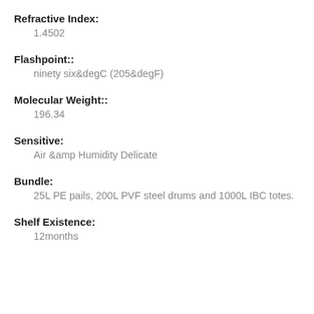Refractive Index:
1.4502
Flashpoint::
ninety six&degC (205&degF)
Molecular Weight::
196.34
Sensitive:
Air &amp Humidity Delicate
Bundle:
25L PE pails, 200L PVF steel drums and 1000L IBC totes.
Shelf Existence:
12months